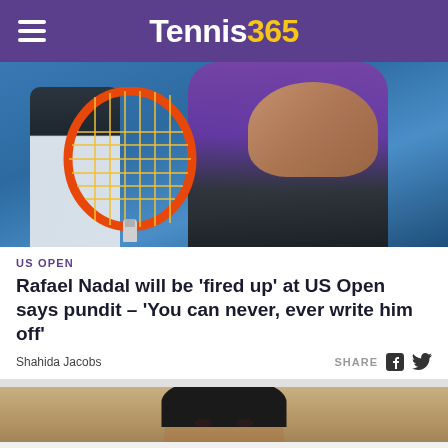Tennis365
[Figure (photo): Tennis player in purple shirt hitting a ball with a yellow/orange racket, another player in white shorts visible in background on blue hard court]
US OPEN
Rafael Nadal will be ‘fired up’ at US Open says pundit – ‘You can never, ever write him off’
Shahida Jacobs
SHARE
[Figure (photo): Close-up of a male tennis player looking up, partial face visible from forehead to eyes, blurred colorful background]